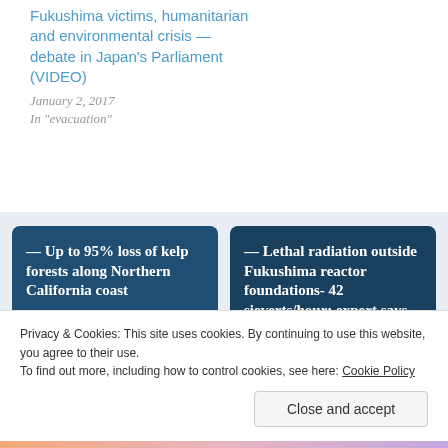Fukushima victims, humanitarian and environmental crisis — debate in Japan's Parliament (VIDEO)
January 2, 2017
In "evacuation"
— Up to 95% loss of kelp forests along Northern California coast
— Lethal radiation outside Fukushima reactor foundations- 42 sieverts/hour; expert says
Privacy & Cookies: This site uses cookies. By continuing to use this website, you agree to their use.
To find out more, including how to control cookies, see here: Cookie Policy
Close and accept